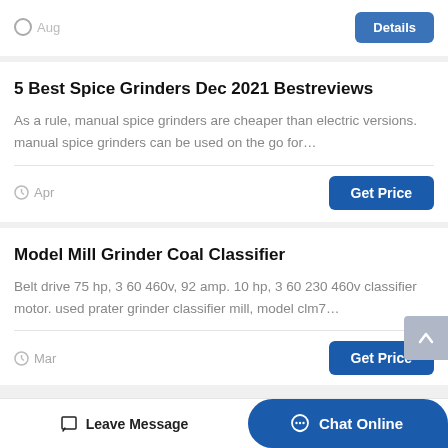Aug
5 Best Spice Grinders Dec 2021 Bestreviews
As a rule, manual spice grinders are cheaper than electric versions. manual spice grinders can be used on the go for…
Apr
Model Mill Grinder Coal Classifier
Belt drive 75 hp, 3 60 460v, 92 amp. 10 hp, 3 60 230 460v classifier motor. used prater grinder classifier mill, model clm7…
Mar
Leave Message
Chat Online